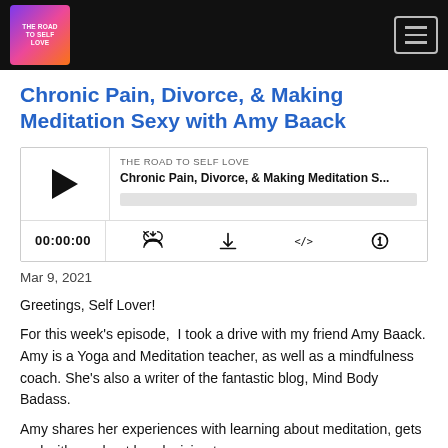The Road to Self Love — Navigation bar with logo and hamburger menu
Chronic Pain, Divorce, & Making Meditation Sexy with Amy Baack
[Figure (screenshot): Podcast audio player widget showing: THE ROAD TO SELF LOVE / Chronic Pain, Divorce, & Making Meditation S... with play button, progress bar, timestamp 00:00:00, and controls for streaming, download, embed, and share]
Mar 9, 2021
Greetings, Self Lover!
For this week's episode,  I took a drive with my friend Amy Baack. Amy is a Yoga and Meditation teacher, as well as a mindfulness coach. She's also a writer of the fantastic blog, Mind Body Badass.
Amy shares her experiences with learning about meditation, gets real with us about her decision to...